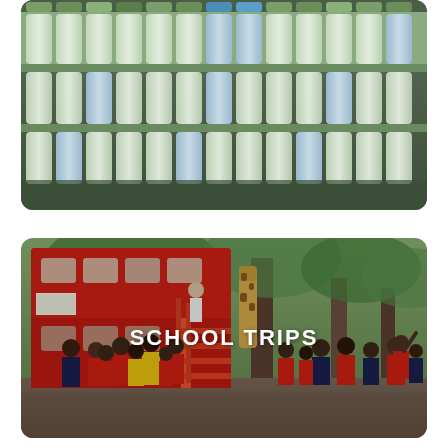[Figure (photo): Top portion of a photo showing rows of plastic water bottles stacked against a structure, partially cropped at the bottom]
[Figure (photo): Photo of a group of school children in red and yellow uniforms gathered around a red double-decker bus structure in a wooded outdoor setting, with trees in background]
SCHOOL TRIPS